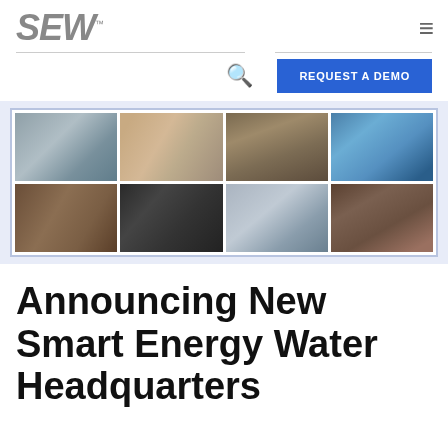SEW
[Figure (photo): Navigation bar with search icon and REQUEST A DEMO button]
[Figure (photo): Grid of 8 office interior photos showing lobby, conference rooms, stairways, seating areas, and open workspaces]
Announcing New Smart Energy Water Headquarters